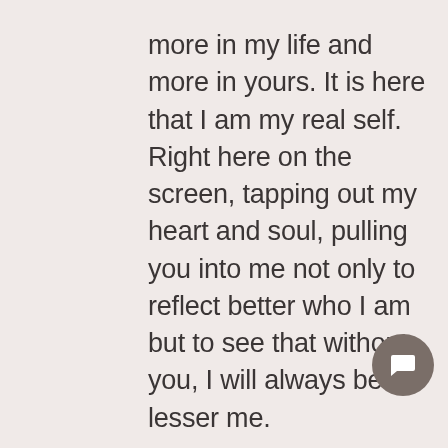more in my life and more in yours. It is here that I am my real self. Right here on the screen, tapping out my heart and soul, pulling you into me not only to reflect better who I am but to see that without you, I will always be a lesser me.
I am thankful for this place, for you taking the time to read, for your presence in my life. This blog has become a solace for me, a place I can return to time and time again to revisit who I was and share who I am becoming. Without you, I would be less. Without you, I would not have a medium to share what I fear, what I know, what I believe and what I l... I am thankful to each and every one